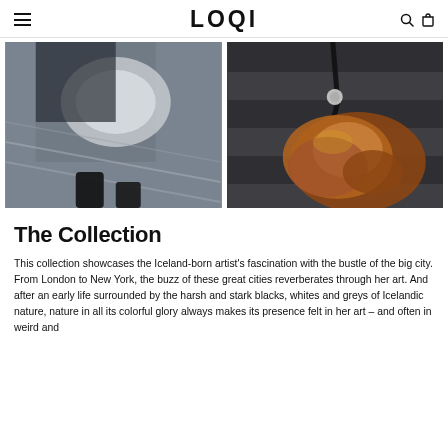LOQI
[Figure (photo): Person carrying a large silver metallic bag while climbing metal stairs outdoors]
[Figure (photo): Bronze/copper metallic crumpled bag hanging on a dark wooden wall]
The Collection
This collection showcases the Iceland-born artist's fascination with the bustle of the big city. From London to New York, the buzz of these great cities reverberates through her art. And after an early life surrounded by the harsh and stark blacks, whites and greys of Icelandic nature, nature in all its colorful glory always makes its presence felt in her art – and often in weird and